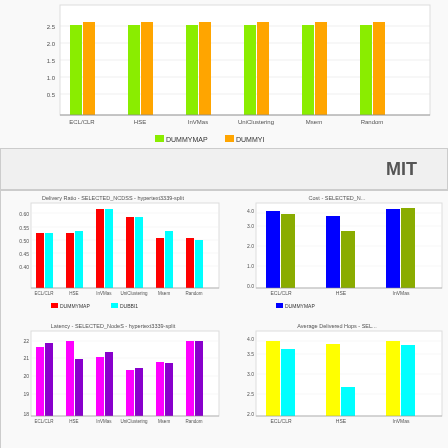[Figure (grouped-bar-chart): Top partial chart (green/orange bars)]
MIT
[Figure (grouped-bar-chart): Delivery Ratio - SELECTED_NCDSS - hypertext3339-split]
[Figure (grouped-bar-chart): Cost - SELECTED_N...]
[Figure (grouped-bar-chart): Latency - SELECTED_NodeS - hypertext3339-split]
[Figure (grouped-bar-chart): Average Delivered Hops - SEL...]